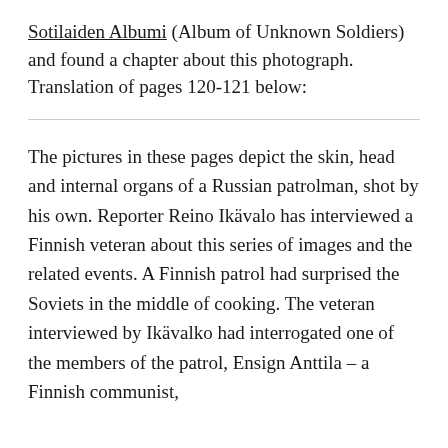Sotilaiden Albumi (Album of Unknown Soldiers) and found a chapter about this photograph. Translation of pages 120-121 below:
The pictures in these pages depict the skin, head and internal organs of a Russian patrolman, shot by his own. Reporter Reino Ikävalo has interviewed a Finnish veteran about this series of images and the related events. A Finnish patrol had surprised the Soviets in the middle of cooking. The veteran interviewed by Ikävalko had interrogated one of the members of the patrol, Ensign Anttila – a Finnish communist,